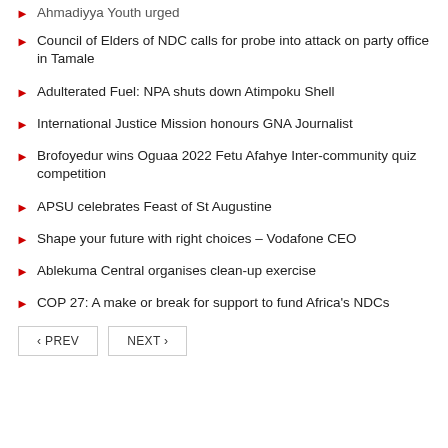Ahmadiyya Youth urged
Council of Elders of NDC calls for probe into attack on party office in Tamale
Adulterated Fuel: NPA shuts down Atimpoku Shell
International Justice Mission honours GNA Journalist
Brofoyedur wins Oguaa 2022 Fetu Afahye Inter-community quiz competition
APSU celebrates Feast of St Augustine
Shape your future with right choices – Vodafone CEO
Ablekuma Central organises clean-up exercise
COP 27: A make or break for support to fund Africa's NDCs
< PREV   NEXT >